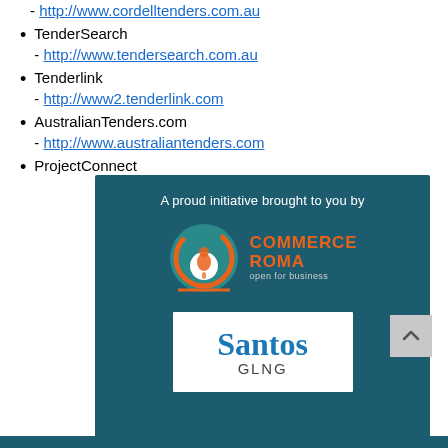- http://www.cordelltenders.com.au
TenderSearch - http://www.tendersearch.com.au
Tenderlink - http://www2.tenderlink.com
AustralianTenders.com - http://www.australiantenders.com
ProjectConnect
[Figure (logo): Commerce Roma open for business logo and Santos GLNG logo on a teal background with text 'A proud initiative brought to you by']